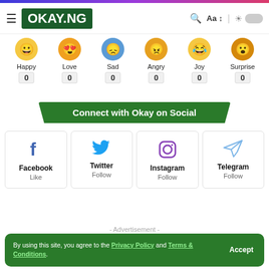OKAY.NG
[Figure (infographic): Emoji reaction buttons: Happy, Love, Sad, Angry, Joy, Surprise each showing count of 0]
Connect with Okay on Social
[Figure (infographic): Social media cards: Facebook Like, Twitter Follow, Instagram Follow, Telegram Follow]
- Advertisement -
By using this site, you agree to the Privacy Policy and Terms & Conditions.